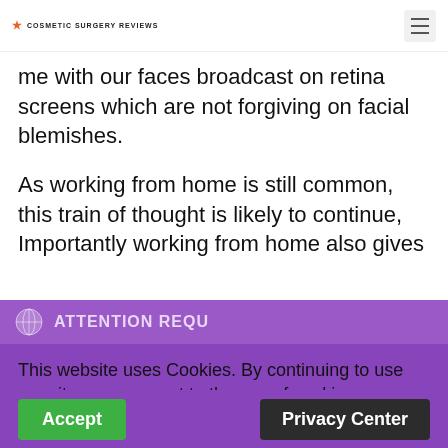COSMETIC SURGERY REVIEWS
me with our faces broadcast on retina screens which are not forgiving on facial blemishes.
As working from home is still common, this train of thought is likely to continue, Importantly working from home also gives
ATTENTION REQU
This website uses Cookies. By continuing to use our site, you consent to the use of cookies.
Accept
Privacy Center
money, but no time